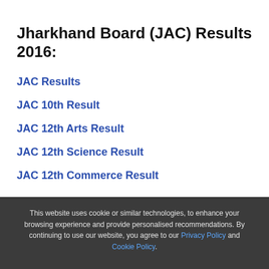Jharkhand Board (JAC) Results 2016:
JAC Results
JAC 10th Result
JAC 12th Arts Result
JAC 12th Science Result
JAC 12th Commerce Result
This website uses cookie or similar technologies, to enhance your browsing experience and provide personalised recommendations. By continuing to use our website, you agree to our Privacy Policy and Cookie Policy.